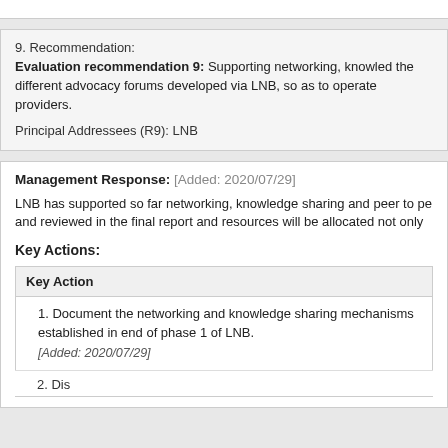9. Recommendation:
Evaluation recommendation 9: Supporting networking, knowledge sharing and peer to peer learning through the different advocacy forums developed via LNB, so as to operate providers.
Principal Addressees (R9): LNB
Management Response: [Added: 2020/07/29]
LNB has supported so far networking, knowledge sharing and peer to peer and reviewed in the final report and resources will be allocated not only
Key Actions:
| Key Action |
| --- |
| 1. Document the networking and knowledge sharing mechanisms established in end of phase 1 of LNB.
[Added: 2020/07/29] |
| 2. Discuss with the donors on the maximization of resources... |
2. Discuss with the donors on the maximization of resources